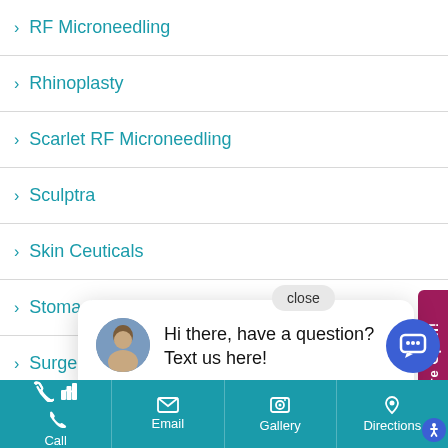> RF Microneedling
> Rhinoplasty
> Scarlet RF Microneedling
> Sculptra
> Skin Ceuticals
> Stomach Fat
> Surgery
> Breast
> Breast Reduction
Hi there, have a question? Text us here!
Call  Email  Gallery  Directions